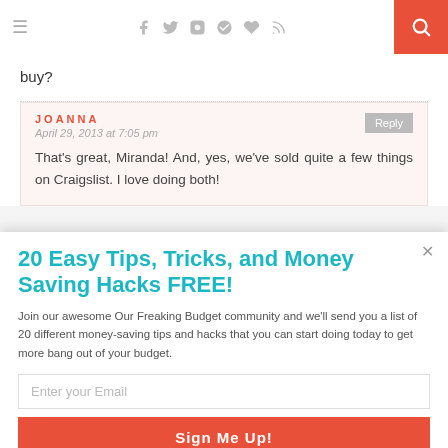≡  f  𝐭  📷  𝐩  ♥  )  🔍
buy?
JOANNA
April 29, 2013 at 7:05 pm
That's great, Miranda! And, yes, we've sold quite a few things on Craigslist. I love doing both!
20 Easy Tips, Tricks, and Money Saving Hacks FREE!
Join our awesome Our Freaking Budget community and we'll send you a list of 20 different money-saving tips and hacks that you can start doing today to get more bang out of your budget.
Enter your Email
Sign Me Up!